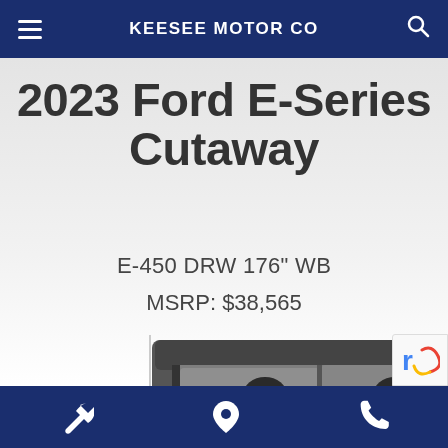KEESEE MOTOR CO
2023 Ford E-Series Cutaway
E-450 DRW 176" WB
MSRP: $38,565
[Figure (photo): Front view of a 2023 Ford E-Series Cutaway van cab, shown in grayscale/black and white]
Navigation icons: wrench (service), location pin, phone